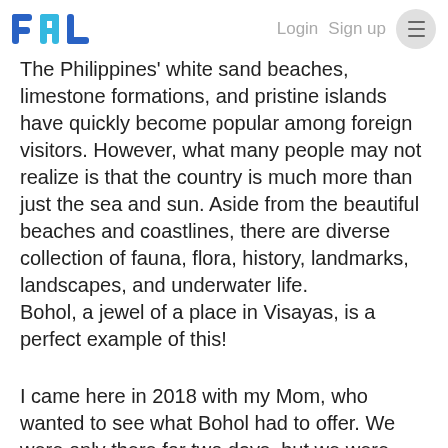PAL | Login  Sign up  ≡
The Philippines' white sand beaches, limestone formations, and pristine islands have quickly become popular among foreign visitors. However, what many people may not realize is that the country is much more than just the sea and sun. Aside from the beautiful beaches and coastlines, there are diverse collection of fauna, flora, history, landmarks, landscapes, and underwater life. Bohol, a jewel of a place in Visayas, is a perfect example of this!
I came here in 2018 with my Mom, who wanted to see what Bohol had to offer. We were only there for two days, but we were able to do the